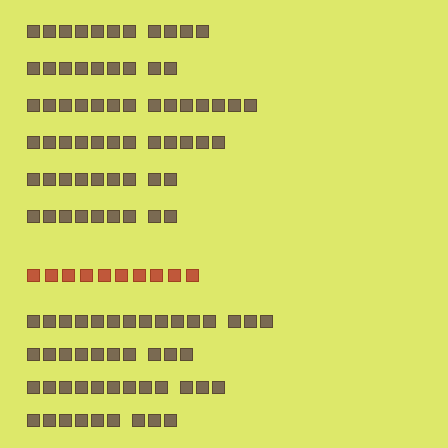[REDACTED] [REDACTED]
[REDACTED] [REDACTED]
[REDACTED] [REDACTED]
[REDACTED] [REDACTED]
[REDACTED] [REDACTED]
[REDACTED] [REDACTED]
[REDACTED]
[REDACTED] [REDACTED]
[REDACTED] [REDACTED]
[REDACTED] [REDACTED]
[REDACTED] [REDACTED]
[REDACTED] [REDACTED]
[REDACTED] [REDACTED]